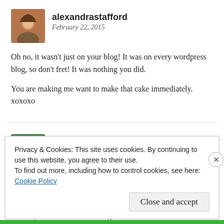[Figure (photo): Avatar photo of alexandrastafford — woman with dark hair]
alexandrastafford
February 22, 2015
Oh no, it wasn't just on your blog! It was on every wordpress blog, so don't fret! It was nothing you did.

You are making me want to make that cake immediately. xoxoxo
[Figure (photo): Avatar photo of megbollenback — woman with dark hair, striped top]
megbollenback
March 3, 2015
Privacy & Cookies: This site uses cookies. By continuing to use this website, you agree to their use.
To find out more, including how to control cookies, see here: Cookie Policy
Close and accept